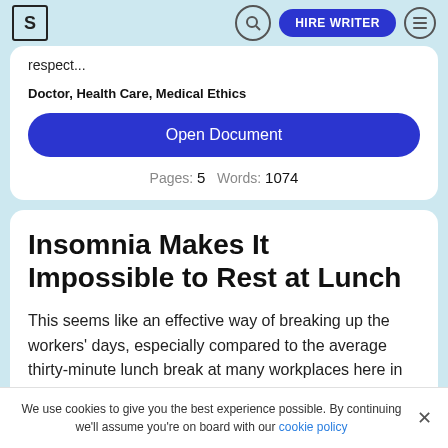S | [search] HIRE WRITER [menu]
respect...
Doctor, Health Care, Medical Ethics
Open Document
Pages: 5   Words: 1074
Insomnia Makes It Impossible to Rest at Lunch
This seems like an effective way of breaking up the workers' days, especially compared to the average thirty-minute lunch break at many workplaces here in America. It sounds like a nice idea, doesn't it? There are even health benefits that
We use cookies to give you the best experience possible. By continuing we'll assume you're on board with our cookie policy